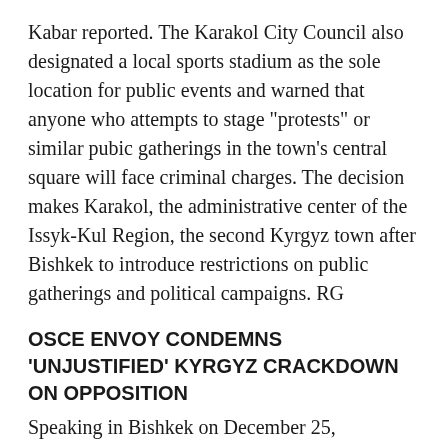Kabar reported. The Karakol City Council also designated a local sports stadium as the sole location for public events and warned that anyone who attempts to stage "protests" or similar pubic gatherings in the town's central square will face criminal charges. The decision makes Karakol, the administrative center of the Issyk-Kul Region, the second Kyrgyz town after Bishkek to introduce restrictions on public gatherings and political campaigns. RG
OSCE ENVOY CONDEMNS 'UNJUSTIFIED' KYRGYZ CRACKDOWN ON OPPOSITION
Speaking in Bishkek on December 25, Ambassador Markus Muller, the head of the Organization for Security and Cooperation in Europe (OSCE) Center in Bishkek, condemned the Kyrgyz authorities for their "disproportionate use of force" and "rude and